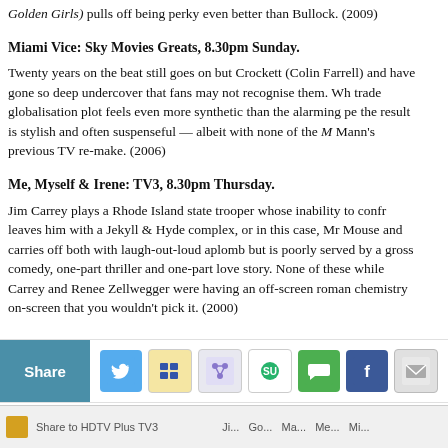Golden Girls) pulls off being perky even better than Bullock. (2009)
Miami Vice: Sky Movies Greats, 8.30pm Sunday.
Twenty years on the beat still goes on but Crockett (Colin Farrell) and Tubbs have gone so deep undercover that fans may not recognise them. While the drugs trade globalisation plot feels even more synthetic than the alarming performances, the result is stylish and often suspenseful — albeit with none of the Michael Mann's previous TV re-make. (2006)
Me, Myself & Irene: TV3, 8.30pm Thursday.
Jim Carrey plays a Rhode Island state trooper whose inability to confront conflict leaves him with a Jekyll & Hyde complex, or in this case, Mr Mouse and Mr Hyde. Carrey carries off both with laugh-out-loud aplomb but is poorly served by a film that's one-part gross comedy, one-part thriller and one-part love story. None of these quite gel, and while Carrey and Renee Zellwegger were having an off-screen romance, there's so little chemistry on-screen that you wouldn't pick it. (2000)
[Figure (infographic): Share bar with social media icons: Twitter, del.icio.us, Digg, StumbleUpon, Facebook, Email]
Share to HDTV Plus TV3 ...